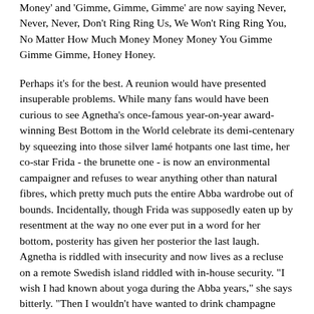Money' and 'Gimme, Gimme, Gimme' are now saying Never, Never, Never, Don't Ring Ring Us, We Won't Ring Ring You, No Matter How Much Money Money Money You Gimme Gimme Gimme, Honey Honey.
Perhaps it's for the best. A reunion would have presented insuperable problems. While many fans would have been curious to see Agnetha's once-famous year-on-year award-winning Best Bottom in the World celebrate its demi-centenary by squeezing into those silver lamé hotpants one last time, her co-star Frida - the brunette one - is now an environmental campaigner and refuses to wear anything other than natural fibres, which pretty much puts the entire Abba wardrobe out of bounds. Incidentally, though Frida was supposedly eaten up by resentment at the way no one ever put in a word for her bottom, posterity has given her posterior the last laugh. Agnetha is riddled with insecurity and now lives as a recluse on a remote Swedish island riddled with in-house security. "I wish I had known about yoga during the Abba years," she says bitterly. "Then I wouldn't have wanted to drink champagne before going on stage."
Since it all went belly up in a haze of the occasional glass of champagne, Benny - or Björn - has recorded an album of Swedish birdsong hailed by one leading Nordic ornithologist as "the perfect introduction to bird-watching", while Björn - or Benny - has made an album of Swedish folk music called Klinga